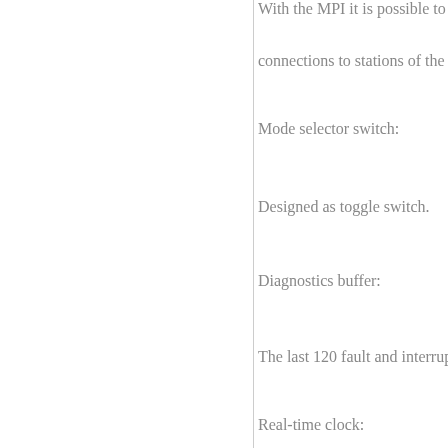With the MPI it is possible to establish connections to stations of the com...
Mode selector switch:
Designed as toggle switch.
Diagnostics buffer:
The last 120 fault and interrupt e...
Real-time clock:
The date and time are appended t...
Memory card:
For expansion of the integrated lo...
Combined MPI/DP interface and...
The PROFIBUS DP master inter...
distributed I/O is treated as centra...
Mixed configuration: SIMATIC...